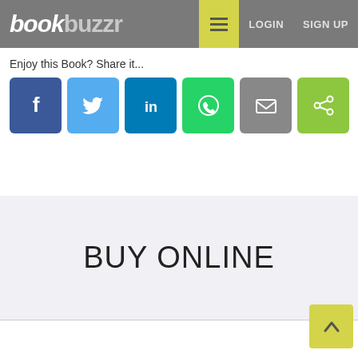bookbuzzr LOGIN SIGN UP
Enjoy this Book? Share it...
[Figure (screenshot): Row of six social share buttons: Facebook (dark blue, f icon), Twitter (light blue, bird icon), LinkedIn (teal blue, in icon), WhatsApp (green, phone icon), Email (gray, envelope icon), Share (green, share icon)]
BUY ONLINE
[Figure (other): Back to top arrow button (yellow/green square with upward chevron arrow)]